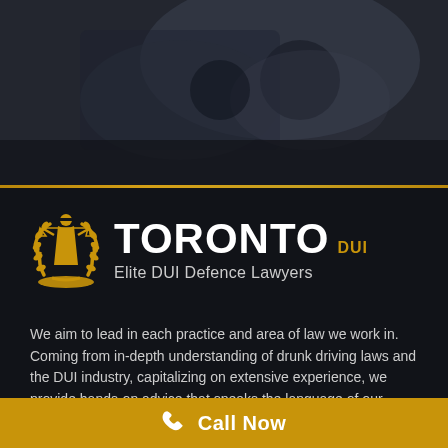[Figure (photo): Dark background photo of car interior/gear area with dark overlay, used as hero banner image]
[Figure (logo): Toronto DUI Elite DUI Defence Lawyers logo with Lady Justice scales icon in gold/amber and white text]
We aim to lead in each practice and area of law we work in. Coming from in-depth understanding of drunk driving laws and the DUI industry, capitalizing on extensive experience, we provide hands-on advice that speaks the language of our client's. We never give up whether we are fighting an impaired driving charge, over 80m.g charge,
Call Now